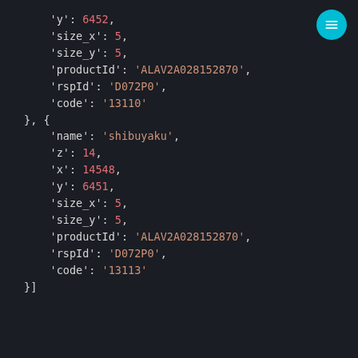[Figure (screenshot): Code snippet showing JSON-like Python dictionary data with two objects. Dark background code editor screenshot. Fields include 'y', 'size_x', 'size_y', 'productId', 'rspId', 'code' for first object, and 'name', 'z', 'x', 'y', 'size_x', 'size_y', 'productId', 'rspId', 'code' for second object named 'shibuyaku'.]